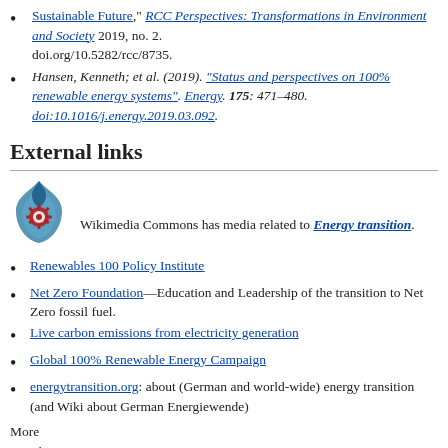Sustainable Future," RCC Perspectives: Transformations in Environment and Society 2019, no. 2. doi.org/10.5282/rcc/8735.
Hansen, Kenneth; et al. (2019). "Status and perspectives on 100% renewable energy systems". Energy. 175: 471–480. doi:10.1016/j.energy.2019.03.092.
External links
[Figure (logo): Wikimedia Commons logo — blue stylized flame with red gear/wheel icon]
Wikimedia Commons has media related to Energy transition.
Renewables 100 Policy Institute
Net Zero Foundation—Education and Leadership of the transition to Net Zero fossil fuel.
Live carbon emissions from electricity generation
Global 100% Renewable Energy Campaign
energytransition.org: about (German and world-wide) energy transition (and Wiki about German Energiewende)
More Portal: